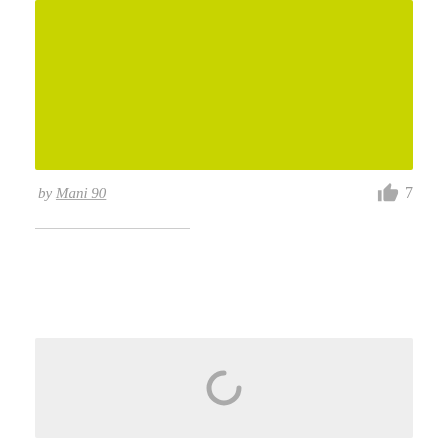[Figure (illustration): Yellow-green rectangular color block at top of page]
by Mani 90
7
[Figure (other): Light gray panel with a loading spinner (C-shaped arc) in the center]